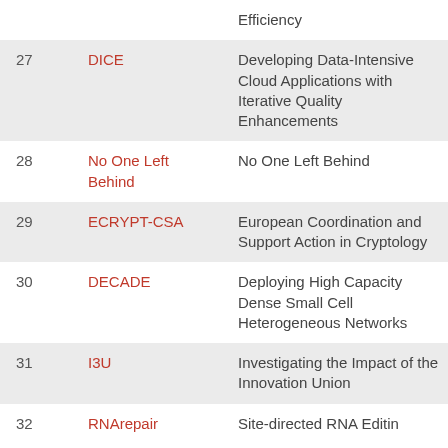| # | Acronym | Title |
| --- | --- | --- |
|  |  | Efficiency |
| 27 | DICE | Developing Data-Intensive Cloud Applications with Iterative Quality Enhancements |
| 28 | No One Left Behind | No One Left Behind |
| 29 | ECRYPT-CSA | European Coordination and Support Action in Cryptology |
| 30 | DECADE | Deploying High Capacity Dense Small Cell Heterogeneous Networks |
| 31 | I3U | Investigating the Impact of the Innovation Union |
| 32 | RNArepair | Site-directed RNA Editing |